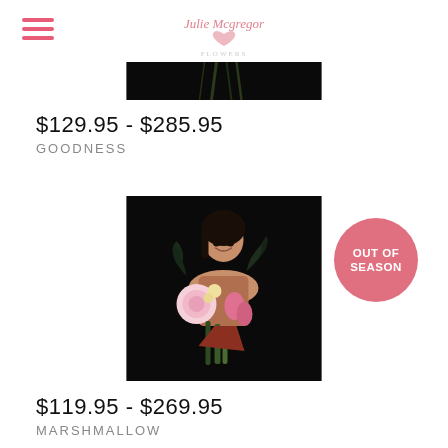Julie Mcgregor Flowers
[Figure (photo): Partial top view of a product photo with dark/black background showing plant stems]
$129.95 - $285.95
GOODNESS
[Figure (photo): A smiling woman holding a large bouquet of mixed flowers including peonies and tulips against a black background. Badge overlay reads 'OUT OF SEASON'.]
$119.95 - $269.95
MARSHMALLOW